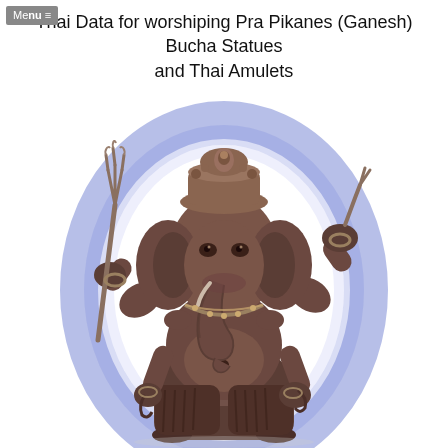Menu | Thai Data for worshiping Pra Pikanes (Ganesh) Bucha Statues and Thai Amulets
[Figure (photo): A dark bronze Ganesh (Pra Pikanes) bucha statue with four arms, elephant head with decorated crown, holding a trident in the upper left hand, with a blue glow aura effect on a white background.]